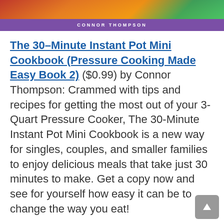[Figure (illustration): Book cover image with food photo and purple author banner reading 'CONNOR THOMPSON']
The 30–Minute Instant Pot Mini Cookbook (Pressure Cooking Made Easy Book 2) ($0.99) by Connor Thompson: Crammed with tips and recipes for getting the most out of your 3-Quart Pressure Cooker, The 30-Minute Instant Pot Mini Cookbook is a new way for singles, couples, and smaller families to enjoy delicious meals that take just 30 minutes to make. Get a copy now and see for yourself how easy it can be to change the way you eat!